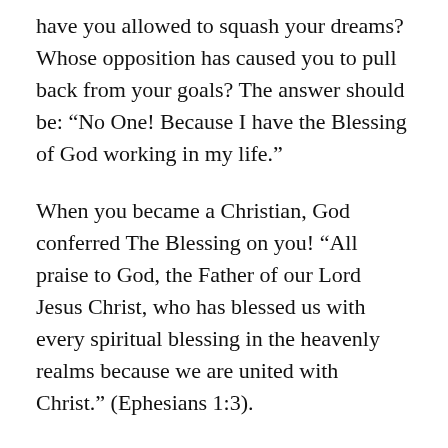have you allowed to squash your dreams? Whose opposition has caused you to pull back from your goals? The answer should be: “No One! Because I have the Blessing of God working in my life.”
When you became a Christian, God conferred The Blessing on you! “All praise to God, the Father of our Lord Jesus Christ, who has blessed us with every spiritual blessing in the heavenly realms because we are united with Christ.” (Ephesians 1:3).
You are empowered to succeed against all odds. Now, Go out and let God prove it to you!